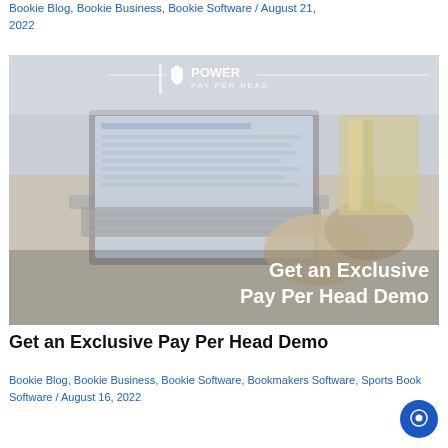Bookie Blog, Bookie Business, Bookie Software / August 21, 2022
[Figure (photo): Person typing on a laptop with Power Pay Per Head logo and text 'Get an Exclusive Pay Per Head Demo' overlaid]
Get an Exclusive Pay Per Head Demo
Bookie Blog, Bookie Business, Bookie Software, Bookmakers Software, Sports Book Software / August 16, 2022